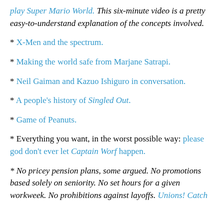play Super Mario World. This six-minute video is a pretty easy-to-understand explanation of the concepts involved.
* X-Men and the spectrum.
* Making the world safe from Marjane Satrapi.
* Neil Gaiman and Kazuo Ishiguro in conversation.
* A people's history of Singled Out.
* Game of Peanuts.
* Everything you want, in the worst possible way: please god don't ever let Captain Worf happen.
* No pricey pension plans, some argued. No promotions based solely on seniority. No set hours for a given workweek. No prohibitions against layoffs. Unions! Catch